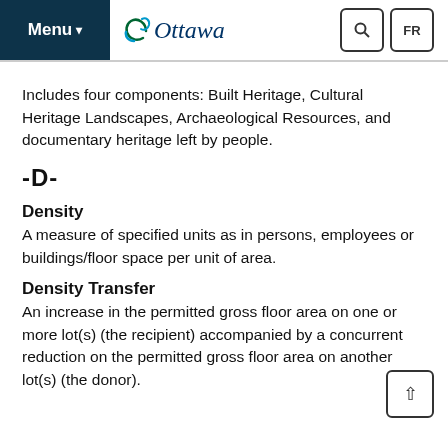Menu | Ottawa | Search | FR
Includes four components: Built Heritage, Cultural Heritage Landscapes, Archaeological Resources, and documentary heritage left by people.
-D-
Density
A measure of specified units as in persons, employees or buildings/floor space per unit of area.
Density Transfer
An increase in the permitted gross floor area on one or more lot(s) (the recipient) accompanied by a concurrent reduction on the permitted gross floor area on another lot(s) (the donor).